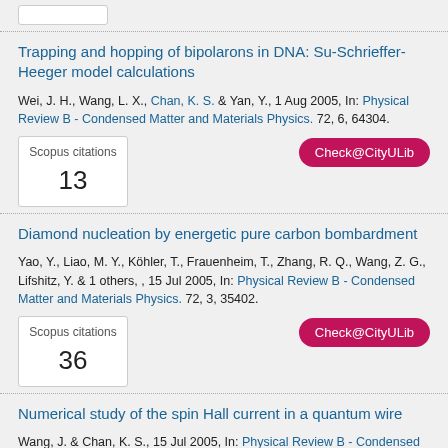Scopus citations 13
Trapping and hopping of bipolarons in DNA: Su-Schrieffer-Heeger model calculations
Wei, J. H., Wang, L. X., Chan, K. S. & Yan, Y., 1 Aug 2005, In: Physical Review B - Condensed Matter and Materials Physics. 72, 6, 64304.
Check@CityULib
Scopus citations 13
Diamond nucleation by energetic pure carbon bombardment
Yao, Y., Liao, M. Y., Köhler, T., Frauenheim, T., Zhang, R. Q., Wang, Z. G., Lifshitz, Y. & 1 others, , 15 Jul 2005, In: Physical Review B - Condensed Matter and Materials Physics. 72, 3, 35402.
Check@CityULib
Scopus citations 36
Numerical study of the spin Hall current in a quantum wire
Wang, J. & Chan, K. S., 15 Jul 2005, In: Physical Review B - Condensed Matter and Materials Physics. 72, 4, 45331.